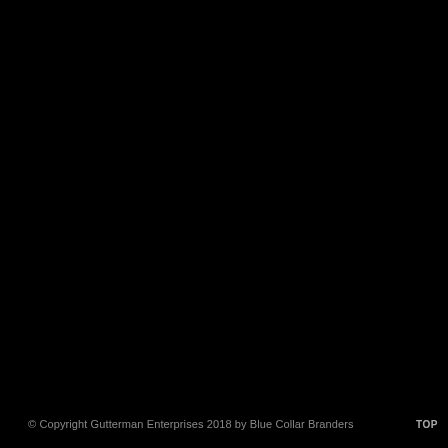© Copyright Gutterman Enterprises 2018 by Blue Collar Branders TOP